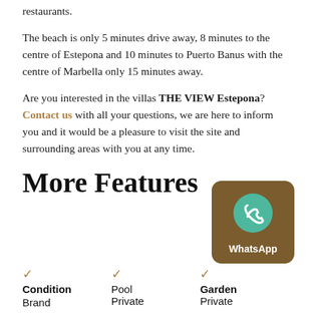restaurants.
The beach is only 5 minutes drive away, 8 minutes to the centre of Estepona and 10 minutes to Puerto Banus with the centre of Marbella only 15 minutes away.
Are you interested in the villas THE VIEW Estepona? Contact us with all your questions, we are here to inform you and it would be a pleasure to visit the site and surrounding areas with you at any time.
More Features
[Figure (logo): WhatsApp logo button with brown rounded square background and teal WhatsApp icon]
Condition Brand
Pool Private
Garden Private